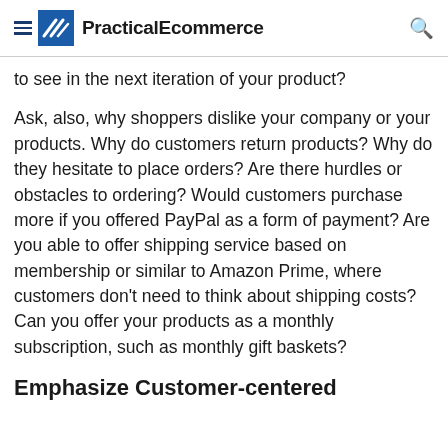PracticalEcommerce
to see in the next iteration of your product?
Ask, also, why shoppers dislike your company or your products. Why do customers return products? Why do they hesitate to place orders? Are there hurdles or obstacles to ordering? Would customers purchase more if you offered PayPal as a form of payment? Are you able to offer shipping service based on membership or similar to Amazon Prime, where customers don't need to think about shipping costs? Can you offer your products as a monthly subscription, such as monthly gift baskets?
Emphasize Customer-centered